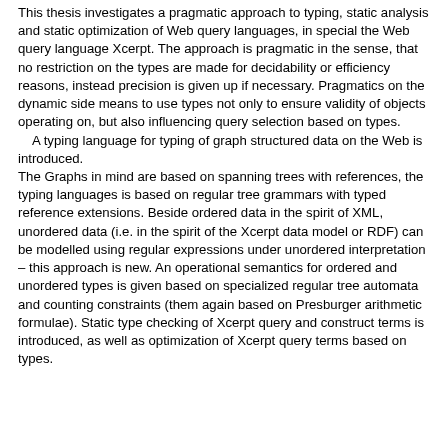This thesis investigates a pragmatic approach to typing, static analysis and static optimization of Web query languages, in special the Web query language Xcerpt. The approach is pragmatic in the sense, that no restriction on the types are made for decidability or efficiency reasons, instead precision is given up if necessary. Pragmatics on the dynamic side means to use types not only to ensure validity of objects operating on, but also influencing query selection based on types.
    A typing language for typing of graph structured data on the Web is introduced.
The Graphs in mind are based on spanning trees with references, the typing languages is based on regular tree grammars with typed reference extensions. Beside ordered data in the spirit of XML, unordered data (i.e. in the spirit of the Xcerpt data model or RDF) can be modelled using regular expressions under unordered interpretation – this approach is new. An operational semantics for ordered and unordered types is given based on specialized regular tree automata and counting constraints (them again based on Presburger arithmetic formulae). Static type checking of Xcerpt query and construct terms is introduced, as well as optimization of Xcerpt query terms based on types.